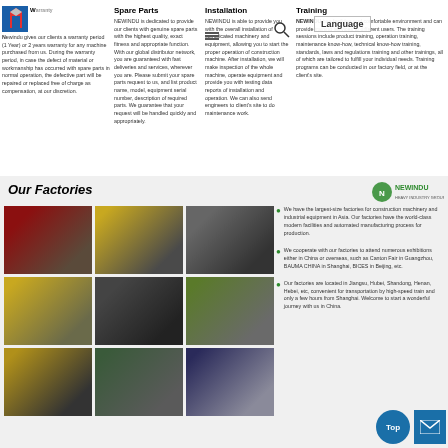Warranty
Newindu gives our clients a warranty period (1 Year) or 2 years warranty for any machine purchased from us. During the warranty period, in case the defect of material or workmanship has occurred with spare parts in normal operation, the defective part will be repaired or replaced free of charge as compensation, at our discretion.
Spare Parts
NEWINDU is dedicated to provide our clients with genuine spare parts with the highest quality, exact fitness and appropriate function. With our global distributor network, you are guaranteed with fast deliveries and services, wherever you are. Please submit your spare parts request to us, and list product name, model, equipment serial number, description of required parts. We guarantee that your request will be handled quickly and appropriately.
Installation
NEWINDU is able to provide you with the overall installation of complicated machinery and equipment, allowing you to start the proper operation of construction machine. After installation, we will make inspection of the whole machine, operate equipment and provide you with testing data reports of installation and operation. We can also send engineers to client's site to do maintenance work.
Training
NEWINDU has facilities and comfortable environment and can provide training services to different users. The training sessions include product training, operation training, maintenance know-how, technical know-how training, standards, laws and regulations training and other trainings, all of which are tailored to fulfill your individual needs. Training programs can be conducted in our factory field, or at the client's site.
Our Factories
[Figure (photo): Factory interior with cranes and red beams]
[Figure (photo): Row of yellow wheel loaders/bulldozers on factory floor]
[Figure (photo): Industrial manufacturing facility interior]
[Figure (photo): Yellow construction machinery in factory]
[Figure (photo): Assembly line with mechanical parts]
[Figure (photo): Multi-level automated manufacturing facility]
[Figure (photo): Engine or mechanical parts assembly]
[Figure (photo): Worker in factory with machinery]
[Figure (photo): Electronic displays or monitor-lined corridor]
We have the largest-size factories for construction machinery and industrial equipment in Asia. Our factories have the world-class modern facilities and automated manufacturing process for production.
We cooperate with our factories to attend numerous exhibitions either in China or overseas, such as Canton Fair in Guangzhou, BAUMA CHINA in Shanghai, BICES in Beijing, etc.
Our factories are located in Jiangsu, Hubei, Shandong, Henan, Hebei, etc, convenient for transportation by high-speed train and only a few hours from Shanghai. Welcome to start a wonderful journey with us in China.
[Figure (logo): NEWINDU green circular logo with brand name]